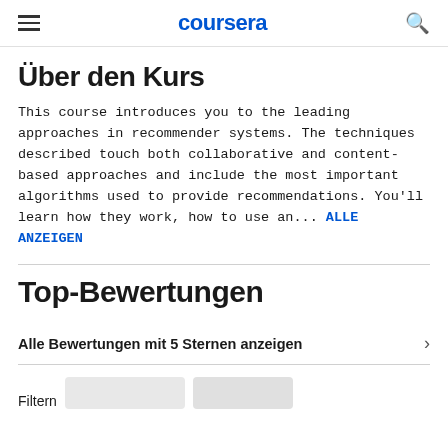coursera
Über den Kurs
This course introduces you to the leading approaches in recommender systems. The techniques described touch both collaborative and content-based approaches and include the most important algorithms used to provide recommendations. You'll learn how they work, how to use an... ALLE ANZEIGEN
Top-Bewertungen
Alle Bewertungen mit 5 Sternen anzeigen
Filtern